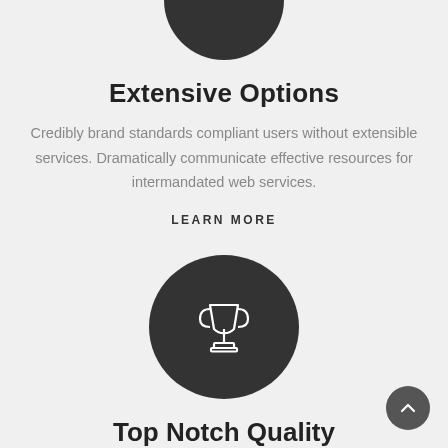[Figure (illustration): Dark gray semicircle/circle partially visible at top of page, cropped at top edge]
Extensive Options
Credibly brand standards compliant users without extensible services. Dramatically communicate effective resources for intermandated web services.
LEARN MORE
[Figure (illustration): Dark gray circle with a trophy/cup icon outlined in white]
Top Notch Quality